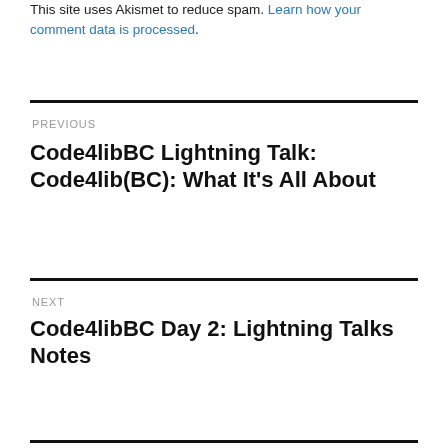This site uses Akismet to reduce spam. Learn how your comment data is processed.
PREVIOUS
Code4libBC Lightning Talk: Code4lib(BC): What It's All About
NEXT
Code4libBC Day 2: Lightning Talks Notes